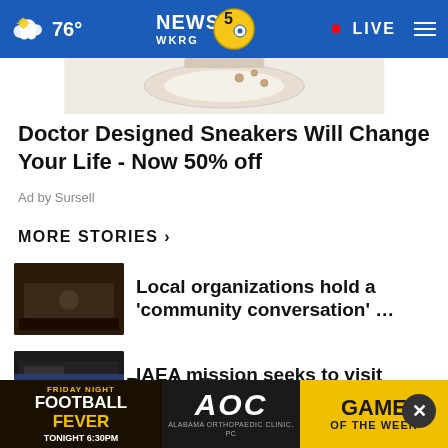76° NEWS 5 WKRG · LIVE
[Figure (photo): Partial image of sneakers/shoes product on white background]
Doctor Designed Sneakers Will Change Your Life - Now 50% off
Ad by Sursell
MORE STORIES ›
Local organizations hold a 'community conversation' …
IAEA mission seeks to visit Zaporizhzhia plant amid …
Russia divestment promises h●S
[Figure (screenshot): Friday Night Football Fever / AOC Alabama Orthopaedic Clinic / Game of the Week banner ad - Tonight 6:30PM]